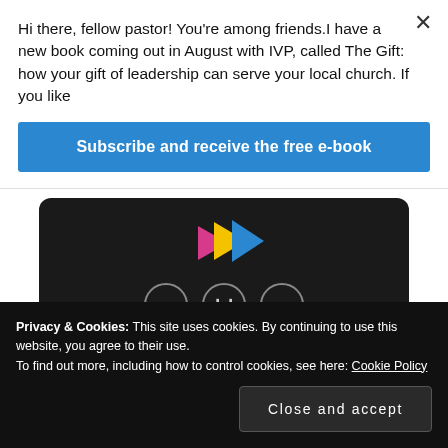Hi there, fellow pastor! You're among friends.I have a new book coming out in August with IVP, called The Gift: how your gift of leadership can serve your local church. If you like
Subscribe and receive the free e-book
[Figure (screenshot): Video player interface with colorful play button icon (pink, yellow, blue triangles), playback controls (back, pause, forward) as circle buttons, and URL text 'thegoodbook.com/from-now-on' on dark background]
Privacy & Cookies: This site uses cookies. By continuing to use this website, you agree to their use.
To find out more, including how to control cookies, see here: Cookie Policy
Close and accept